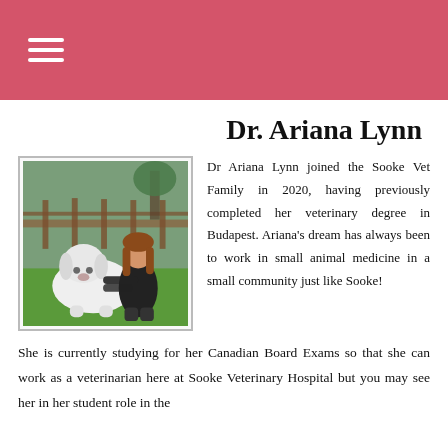≡ (hamburger menu icon)
Dr. Ariana Lynn
[Figure (photo): Dr. Ariana Lynn crouching outdoors on green grass, hugging a large white fluffy dog (Great Pyrenees), with a wooden fence and trees in the background.]
Dr Ariana Lynn joined the Sooke Vet Family in 2020, having previously completed her veterinary degree in Budapest. Ariana's dream has always been to work in small animal medicine in a small community just like Sooke!
She is currently studying for her Canadian Board Exams so that she can work as a veterinarian here at Sooke Veterinary Hospital but you may see her in her student role in the